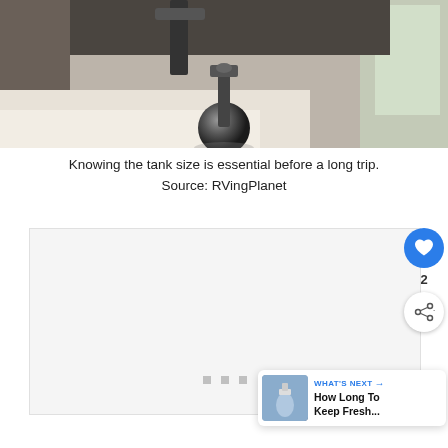[Figure (photo): Underside of a vehicle showing a tow hitch ball, with a bright floor and window visible in background]
Knowing the tank size is essential before a long trip.
Source: RVingPlanet
[Figure (other): Advertisement placeholder box with three dots loading indicator]
[Figure (other): What's Next widget showing thumbnail and title: How Long To Keep Fresh...]